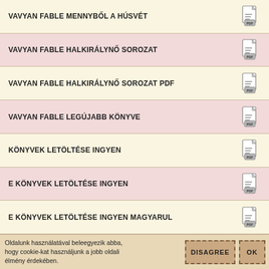VAVYAN FABLE MENNYBŐL A HÚSVÉT
VAVYAN FABLE HALKIRÁLYNŐ SOROZAT
VAVYAN FABLE HALKIRÁLYNŐ SOROZAT PDF
VAVYAN FABLE LEGÚJABB KÖNYVE
KÖNYVEK LETÖLTÉSE INGYEN
E KÖNYVEK LETÖLTÉSE INGYEN
E KÖNYVEK LETÖLTÉSE INGYEN MAGYARUL
Oldalunk használatával beleegyezik abba, hogy cookie-kat használjunk a jobb oldali élmény érdekében.